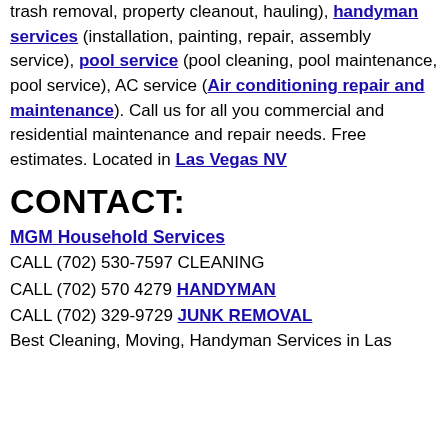trash removal, property cleanout, hauling), handyman services (installation, painting, repair, assembly service), pool service (pool cleaning, pool maintenance, pool service), AC service (Air conditioning repair and maintenance). Call us for all you commercial and residential maintenance and repair needs. Free estimates. Located in Las Vegas NV
CONTACT:
MGM Household Services
CALL (702) 530-7597 CLEANING
CALL (702) 570 4279 HANDYMAN
CALL (702) 329-9729 JUNK REMOVAL
Best Cleaning, Moving, Handyman Services in Las